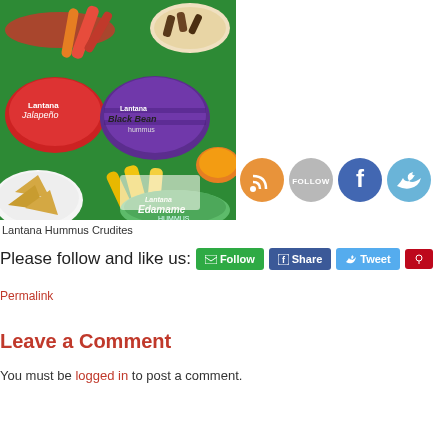[Figure (photo): Photo of Lantana Hummus Crudites spread on a green table with bowls of vegetables, chips, and Lantana hummus containers including Black Bean and Edamame varieties]
[Figure (infographic): Social media icon buttons: RSS (orange), Follow (gray), Facebook (blue), Twitter (light blue)]
Lantana Hummus Crudites
Please follow and like us:
Permalink
Leave a Comment
You must be logged in to post a comment.